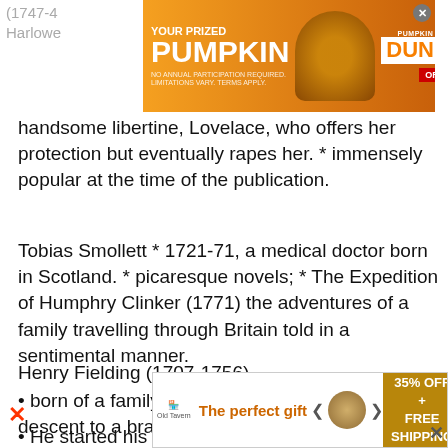(1747-4... sa Harlowe...
[Figure (other): Dunkin advertisement banner: YOUR PRIZED PUMPKIN with Pumpkin Cream Cold Brew image and Dunkin ORDER NOW button]
handsome libertine, Lovelace, who offers her protection but eventually rapes her. * immensely popular at the time of the publication.
Tobias Smollett * 1721-71, a medical doctor born in Scotland. * picaresque novels; * The Expedition of Humphry Clinker (1771) the adventures of a family travelling through Britain told in a sentimental manner.
Henry Fielding (1707-1756)
• born of a family that by tradition traced its descent to a branch of the Habsburgs.
• He started his career as a playwright, wrote some 25 plays
[Figure (other): Bottom advertisement: The perfect gift - 35% OFF + FREE SHIPPING]